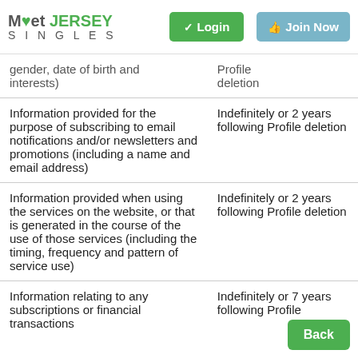Meet Jersey Singles — Login | Join Now
| Data type | Retention period |
| --- | --- |
| gender, date of birth and interests) | Profile deletion |
| Information provided for the purpose of subscribing to email notifications and/or newsletters and promotions (including a name and email address) | Indefinitely or 2 years following Profile deletion |
| Information provided when using the services on the website, or that is generated in the course of the use of those services (including the timing, frequency and pattern of service use) | Indefinitely or 2 years following Profile deletion |
| Information relating to any subscriptions or financial transactions | Indefinitely or 7 years following Profile deletion |